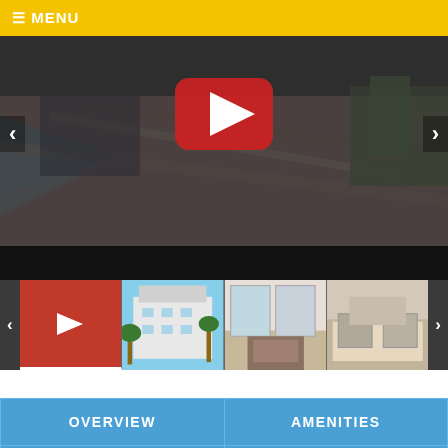☰ MENU
[Figure (screenshot): Aerial beach video player with YouTube play button overlay, left and right navigation arrows, showing sandy beach with waves from drone view]
[Figure (screenshot): Thumbnail strip showing: video thumbnail (red play button), building exterior photo, interior room photo, and bedroom photo, with left and right navigation arrows]
| OVERVIEW | AMENITIES |
| MAP | WEEKLY RATES |
| MONTHLY RATES | CONTACT |